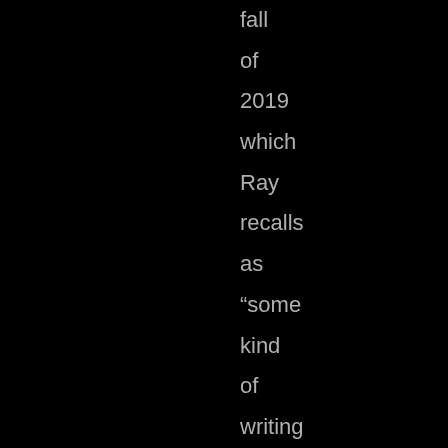fall of 2019 which Ray recalls as “some kind of writing frenzy” that had been preceded by a long